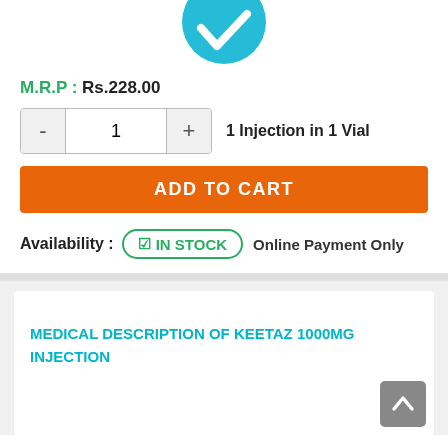[Figure (logo): Teal/cyan circular icon with a medical/vaccine syringe checkmark symbol, partially cropped at top]
M.R.P : Rs.228.00
1  1 Injection in 1 Vial
ADD TO CART
Availability :  ☑ IN STOCK  Online Payment Only
MEDICAL DESCRIPTION OF KEETAZ 1000MG INJECTION